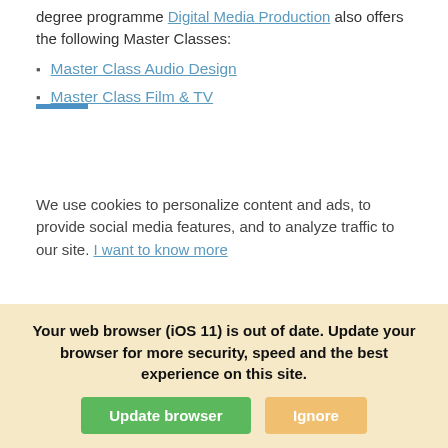degree programme Digital Media Production also offers the following Master Classes:
Master Class Audio Design
Master Class Film & TV
We use cookies to personalize content and ads, to provide social media features, and to analyze traffic to our site. I want to know more
Your web browser (iOS 11) is out of date. Update your browser for more security, speed and the best experience on this site.